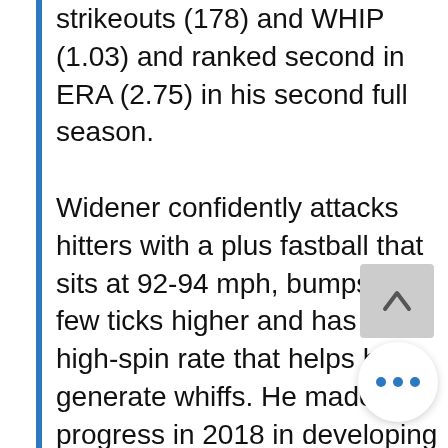strikeouts (178) and WHIP (1.03) and ranked second in ERA (2.75) in his second full season. Widener confidently attacks hitters with a plus fastball that sits at 92-94 mph, bumps a few ticks higher and has a high-spin rate that helps him generate whiffs. He made progress in 2018 in developing an effective changeup, now his better secondary weapon, and he continues to work on the consistency and action of his